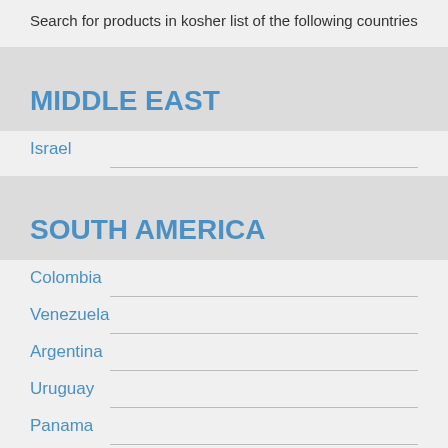Search for products in kosher list of the following countries
MIDDLE EAST
Israel
SOUTH AMERICA
Colombia
Venezuela
Argentina
Uruguay
Panama
Brazil